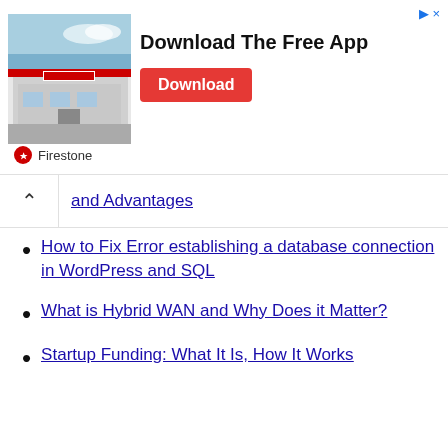[Figure (other): Firestone advertisement banner showing a store building photo with text 'Download The Free App' and a red Download button, with Firestone branding logo below.]
and Advantages
How to Fix Error establishing a database connection in WordPress and SQL
What is Hybrid WAN and Why Does it Matter?
Startup Funding: What It Is, How It Works